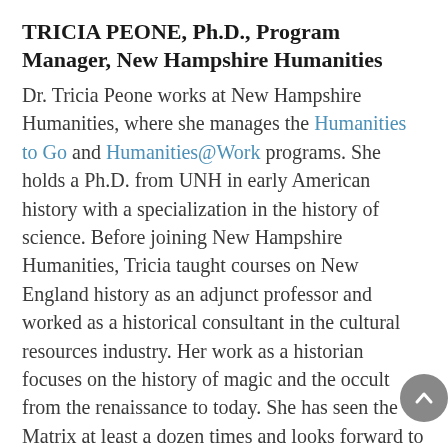TRICIA PEONE, Ph.D., Program Manager, New Hampshire Humanities
Dr. Tricia Peone works at New Hampshire Humanities, where she manages the Humanities to Go and Humanities@Work programs. She holds a Ph.D. from UNH in early American history with a specialization in the history of science. Before joining New Hampshire Humanities, Tricia taught courses on New England history as an adjunct professor and worked as a historical consultant in the cultural resources industry. Her work as a historian focuses on the history of magic and the occult from the renaissance to today. She has seen the Matrix at least a dozen times and looks forward to a dystopian future where it's